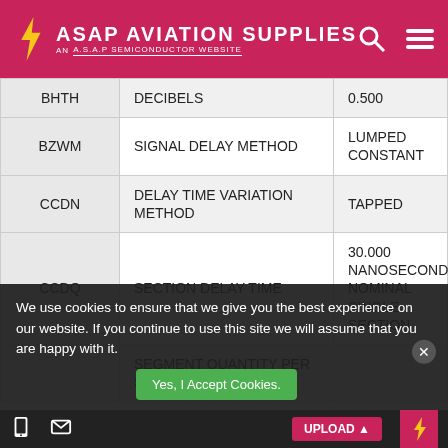ASAP AVIATION SUPPLIES — AN A.S.A.P SEMICONDUCTOR WEBSITE
| Code | Description | Value |
| --- | --- | --- |
| BHTH | DECIBELS | 0.500 |
| BZWM | SIGNAL DELAY METHOD | LUMPED CONSTANT |
| CCDN | DELAY TIME VARIATION METHOD | TAPPED |
| CCDQ | SECTION DELAY TIME | 30.000 NANOSECONDS NOMINAL SINGLE SECTION |
|  | SEGMENT QUANTITY PER SECTION |  |
We use cookies to ensure that we give you the best experience on our website. If you continue to use this site we will assume that you are happy with it.
Yes, I Accept Cookies. | UPLOAD | Top